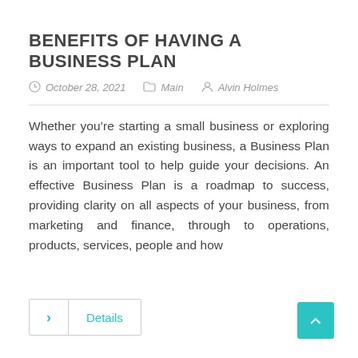BENEFITS OF HAVING A BUSINESS PLAN
October 28, 2021   Main   Alvin Holmes
Whether you're starting a small business or exploring ways to expand an existing business, a Business Plan is an important tool to help guide your decisions. An effective Business Plan is a roadmap to success, providing clarity on all aspects of your business, from marketing and finance, through to operations, products, services, people and how